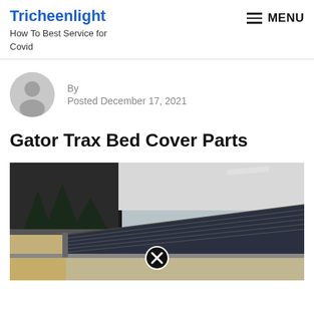Tricheenlight
How To Best Service for Covid
By
Posted December 17, 2021
Gator Trax Bed Cover Parts
[Figure (photo): Photograph of a truck bed with a Gator Trax roll-up tonneau cover installed, shot from the rear-side angle showing the cab window and cover panels. A circular close button (X) is visible at the bottom center of the image.]